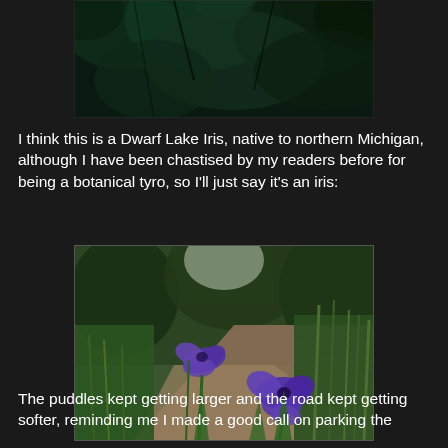[Figure (photo): Partial top photo showing dark green foliage/trees against a dark background, cropped at top]
I think this is a Dwarf Lake Iris, native to northern Michigan, although I have been chastised by my readers before for being a botanical tyro, so I'll just say it's an iris:
[Figure (photo): Photo of purple iris flowers (Dwarf Lake Iris) blooming beside a dirt road, with green grass and trees in the background]
The puddles kept getting larger and the road kept getting softer, reminding me I made a good call on parking the